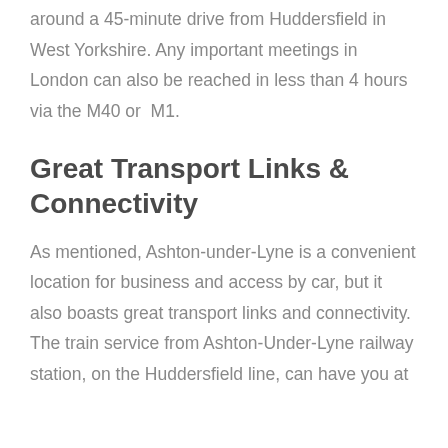around a 45-minute drive from Huddersfield in West Yorkshire. Any important meetings in London can also be reached in less than 4 hours via the M40 or M1.
Great Transport Links & Connectivity
As mentioned, Ashton-under-Lyne is a convenient location for business and access by car, but it also boasts great transport links and connectivity. The train service from Ashton-Under-Lyne railway station, on the Huddersfield line, can have you at